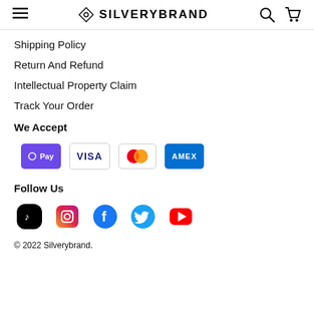SILVERYBRAND
Shipping Policy
Return And Refund
Intellectual Property Claim
Track Your Order
We Accept
[Figure (logo): Payment method logos: OPay, VISA, Mastercard, AMEX]
Follow Us
[Figure (logo): Social media icons: TikTok, Instagram, Facebook, Twitter, YouTube]
© 2022 Silverybrand.